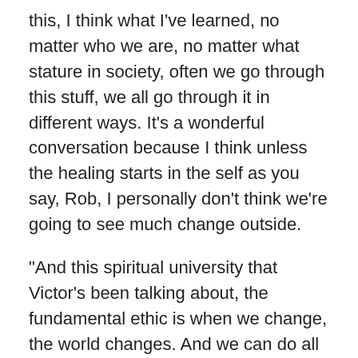this, I think what I've learned, no matter who we are, no matter what stature in society, often we go through this stuff, we all go through it in different ways. It's a wonderful conversation because I think unless the healing starts in the self as you say, Rob, I personally don't think we're going to see much change outside.
"And this spiritual university that Victor's been talking about, the fundamental ethic is when we change, the world changes. And we can do all the temporary bandages on all the stuff outside, but in this fundamentally, our human nature begins to shift a little bit, I'm not sure we're going to see a lot of change really happening around us.
"And the thought think meditation and self...